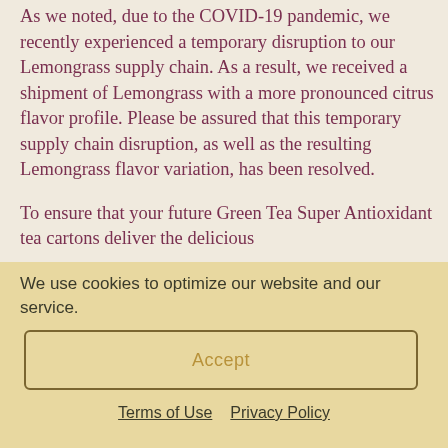As we noted, due to the COVID-19 pandemic, we recently experienced a temporary disruption to our Lemongrass supply chain. As a result, we received a shipment of Lemongrass with a more pronounced citrus flavor profile. Please be assured that this temporary supply chain disruption, as well as the resulting Lemongrass flavor variation, has been resolved.
To ensure that your future Green Tea Super Antioxidant tea cartons deliver the delicious
We use cookies to optimize our website and our service.
Accept
Terms of Use   Privacy Policy